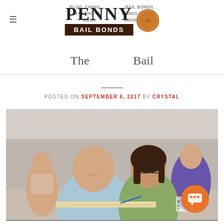BLOG, CHINO, RANCHO CUCAMONGA, INLAND BAIL BONDS, UPLANDS BAIL BONDS | PENNY BAIL BONDS
[Figure (logo): Penny Bail Bonds logo with large serif PENNY text, dark brown BAIL BONDS banner, and a penny coin graphic]
The... Bail
POSTED ON SEPTEMBER 6, 2017 BY CRYSTAL
[Figure (photo): Two smiling college students sitting in a lecture hall. A young man in a light blue polo shirt and a young woman with dark hair and glasses in a green tank top are sitting together at desks with notebooks and pens. Other students visible in the background. A date badge showing 06 Sep is overlaid in the upper-left corner. An orange chat icon is in the lower-right corner.]